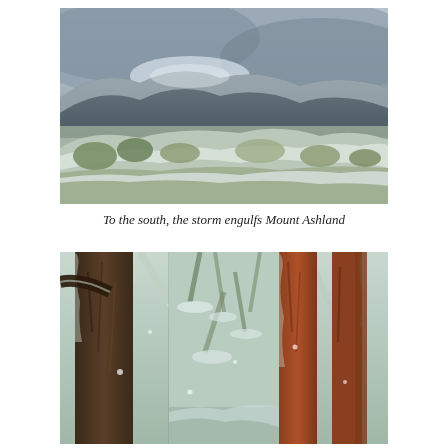[Figure (photo): Panoramic winter landscape view looking south toward Mount Ashland, showing a hillside with scrub brush lightly dusted with snow, a valley with trees and buildings below, and dark storm clouds engulfing the mountain in the background.]
To the south, the storm engulfs Mount Ashland
[Figure (photo): Close-up winter forest scene showing snow-dusted tree trunks and branches looking upward through a canopy of pine and fir trees. Composed of three side-by-side panels showing bark textures, branches, and snowy foliage.]